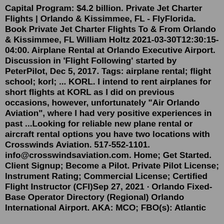Capital Program: $4.2 billion. Private Jet Charter Flights | Orlando & Kissimmee, FL - FlyFlorida. Book Private Jet Charter Flights To & From Orlando & Kissimmee, FL William Holtz 2021-03-30T12:30:15-04:00. Airplane Rental at Orlando Executive Airport. Discussion in 'Flight Following' started by PeterPilot, Dec 5, 2017. Tags: airplane rental; flight school; korl; ... KORL. I intend to rent airplanes for short flights at KORL as I did on previous occasions, however, unfortunately "Air Orlando Aviation", where I had very positive experiences in past ...Looking for reliable new plane rental or aircraft rental options you have two locations with Crosswinds Aviation. 517-552-1101. info@crosswindsaviation.com. Home; Get Started. Client Signup; Become a Pilot. Private Pilot License; Instrument Rating; Commercial License; Certified Flight Instructor (CFI)Sep 27, 2021 · Orlando Fixed-Base Operator Directory (Regional) Orlando International Airport. AKA: MCO; FBO(s): Atlantic